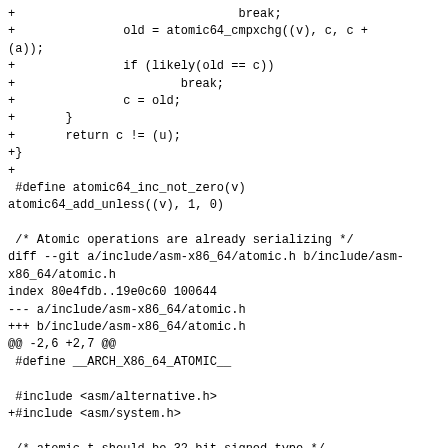+                               break;
+               old = atomic64_cmpxchg((v), c, c +
(a));
+               if (likely(old == c))
+                       break;
+               c = old;
+       }
+       return c != (u);
+}
+
 #define atomic64_inc_not_zero(v)
atomic64_add_unless((v), 1, 0)

 /* Atomic operations are already serializing */
diff --git a/include/asm-x86_64/atomic.h b/include/asm-x86_64/atomic.h
index 80e4fdb..19e0c60 100644
--- a/include/asm-x86_64/atomic.h
+++ b/include/asm-x86_64/atomic.h
@@ -2,6 +2,7 @@
 #define __ARCH_X86_64_ATOMIC__

 #include <asm/alternative.h>
+#include <asm/system.h>

 /* atomic_t should be 32 bit signed type */

@@ -403,20 +404,21 @@ static __inline__ long
atomic64_sub_return(long i, atomic64_t *v)
  * Atomically adds @a to @v, so long as it was not @u.